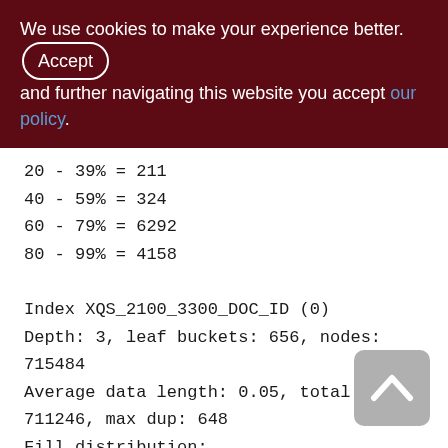We use cookies to make your experience better. By accepting and further navigating this website you accept our policy.
20 - 39% = 211
40 - 59% = 324
60 - 79% = 6292
80 - 99% = 4158

Index XQS_2100_3300_DOC_ID (0)
Depth: 3, leaf buckets: 656, nodes: 715484
Average data length: 0.05, total dup:
711246, max dup: 648
Fill distribution:
0 - 19% = 1
20 - 39% = 4
40 - 59% = 320